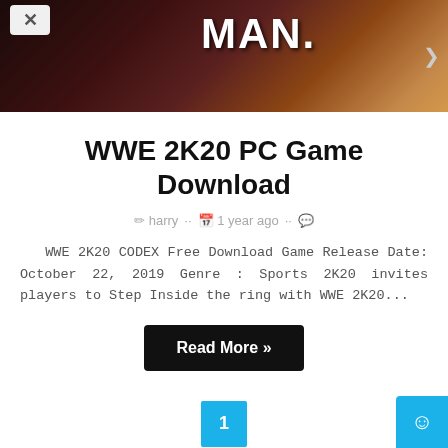[Figure (photo): WWE 2K20 promotional banner image showing a female wrestler with 'MAN.' text visible, dark background with orange/gold tones]
WWE 2K20 PC Game Download
harry  ··  1 year ago  ··  💬
WWE 2K20 CODEX Free Download Game Release Date: October 22, 2019 Genre : Sports 2K20 invites players to Step Inside the ring with WWE 2K20...
Read More »
1